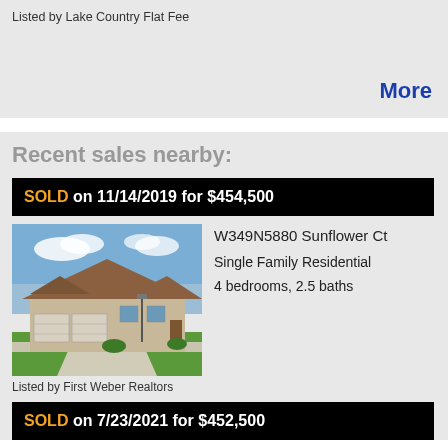Listed by Lake Country Flat Fee
More
Recent sales nearby:
SOLD on 11/14/2019 for $454,500
[Figure (photo): Two-story single family residential home with three-car garage, brick and siding exterior, green lawn, clear sky.]
W349N5880 Sunflower Ct
Single Family Residential
4 bedrooms, 2.5 baths
Listed by First Weber Realtors
SOLD on 7/23/2021 for $452,500